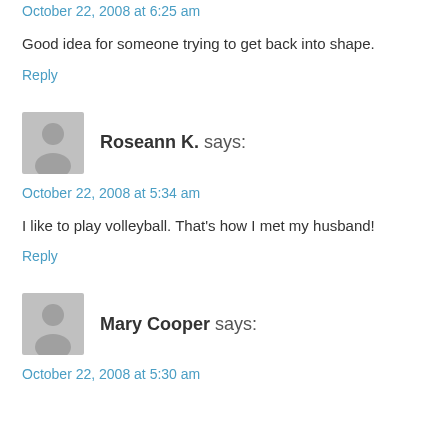October 22, 2008 at 6:25 am
Good idea for someone trying to get back into shape.
Reply
Roseann K. says:
October 22, 2008 at 5:34 am
I like to play volleyball. That's how I met my husband!
Reply
Mary Cooper says:
October 22, 2008 at 5:30 am